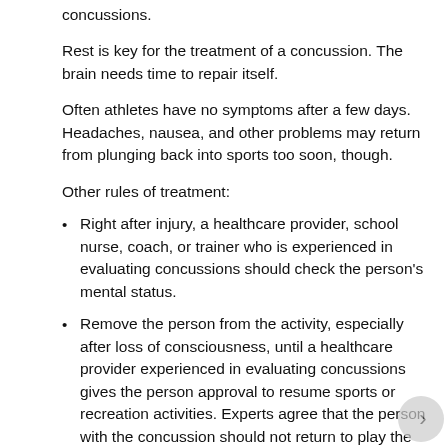concussions.
Rest is key for the treatment of a concussion. The brain needs time to repair itself.
Often athletes have no symptoms after a few days. Headaches, nausea, and other problems may return from plunging back into sports too soon, though.
Other rules of treatment:
Right after injury, a healthcare provider, school nurse, coach, or trainer who is experienced in evaluating concussions should check the person's mental status.
Remove the person from the activity, especially after loss of consciousness, until a healthcare provider experienced in evaluating concussions gives the person approval to resume sports or recreation activities. Experts agree that the person with the concussion should not return to play the day of a concussion.
Initially watch the person's level of consciousness very closely for 30 minutes. Then monitor his or her state of